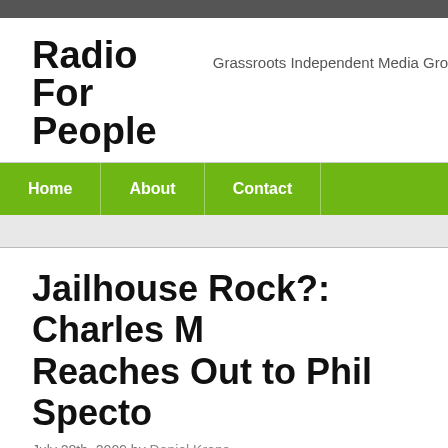Radio For People | Grassroots Independent Media Gro...
Home | About | Contact
Jailhouse Rock?: Charles M... Reaches Out to Phil Specto...
July 28th, 2009 by Daniel Kreps
Photo: Getty(Spector), Michael Ochs Archive/Getty(Manson)
When Rock Daily reported last month that famed producer and convicted... being moved to Corcoran, California's California Substance Abuse and Tr... that neighboring Corcoran State Prison is the home of musician and infam... leader Charlie Manson. Apparently the proximity generated a creative spa...